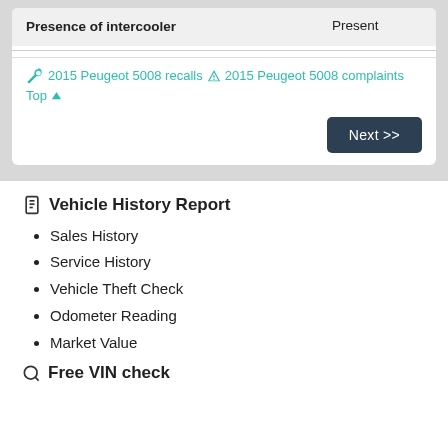| Property | Value |
| --- | --- |
| Presence of intercooler | Present |
🔧 2015 Peugeot 5008 recalls  ⚠ 2015 Peugeot 5008 complaints  Top ↑
Next >>
Vehicle History Report
Sales History
Service History
Vehicle Theft Check
Odometer Reading
Market Value
Free VIN check